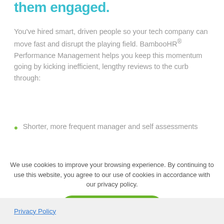them engaged.
You've hired smart, driven people so your tech company can move fast and disrupt the playing field. BambooHR® Performance Management helps you keep this momentum going by kicking inefficient, lengthy reviews to the curb through:
Shorter, more frequent manager and self assessments
We use cookies to improve your browsing experience. By continuing to use this website, you agree to our use of cookies in accordance with our privacy policy.
Okay, thanks!
Privacy Policy